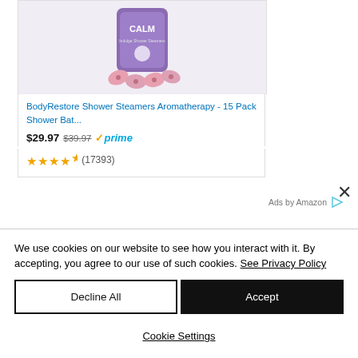[Figure (photo): BodyRestore Shower Steamers Aromatherapy product with purple CALM branding and pink bath bomb tablets]
BodyRestore Shower Steamers Aromatherapy - 15 Pack Shower Bat...
$29.97  $39.97  prime
(17393)
Ads by Amazon
We use cookies on our website to see how you interact with it. By accepting, you agree to our use of such cookies. See Privacy Policy
Decline All
Accept
Cookie Settings